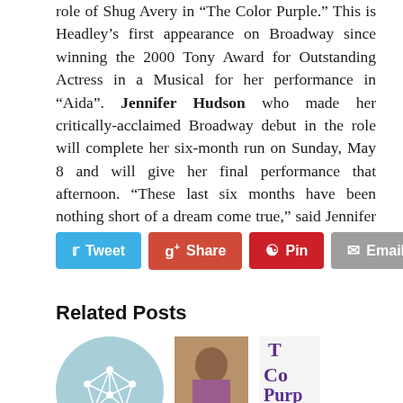role of Shug Avery in “The Color Purple.” This is Headley’s first appearance on Broadway since winning the 2000 Tony Award for Outstanding Actress in a Musical for her performance in “Aida”. Jennifer Hudson who made her critically-acclaimed Broadway debut in the role will complete her six-month run on Sunday, May 8 and will give her final performance that afternoon. “These last six months have been nothing short of a dream come true,” said Jennifer Hudson…….
[Figure (infographic): Social sharing buttons: Tweet (Twitter/blue), Share (Google+/red-orange), Pin (Pinterest/red), Email (grey)]
Related Posts
[Figure (illustration): Round light-blue circle with white geometric network/polyhedron icon]
[Figure (photo): Photo of a smiling woman with short grey hair wearing glasses and colorful clothing]
[Figure (photo): Book cover showing partial text: T, Co, Purp, Ali in purple lettering]